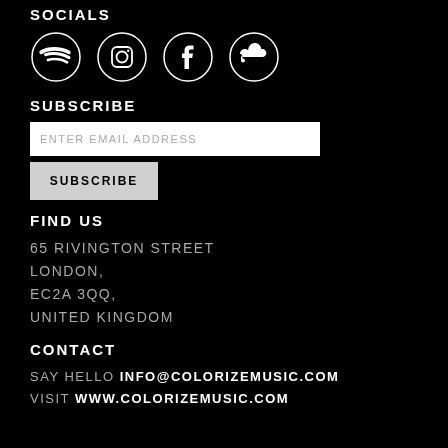SOCIALS
[Figure (illustration): Four social media icons in circles: Spotify, Instagram, Facebook, SoundCloud]
SUBSCRIBE
ENTER EMAIL ADDRESS (input field)
SUBSCRIBE (button)
FIND US
65 RIVINGTON STREET
LONDON,
EC2A 3QQ,
UNITED KINGDOM
CONTACT
SAY HELLO INFO@COLORIZEMUSIC.COM
VISIT WWW.COLORIZEMUSIC.COM